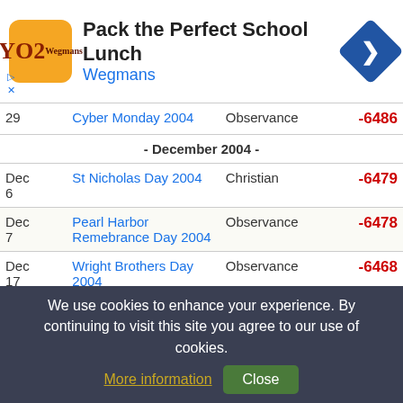[Figure (other): Advertisement banner: Wegmans 'Pack the Perfect School Lunch' with orange logo and blue navigation arrow icon]
| Date | Holiday | Type | Days |
| --- | --- | --- | --- |
| 29 | Cyber Monday 2004 | Observance | -6486 |
| - December 2004 - |  |  |  |
| Dec 6 | St Nicholas Day 2004 | Christian | -6479 |
| Dec 7 | Pearl Harbor Remebrance Day 2004 | Observance | -6478 |
| Dec 17 | Wright Brothers Day 2004 | Observance | -6468 |
| Dec 21 | Winter- Winter Solstice 2004 | Season | -6464 |
We use cookies to enhance your experience. By continuing to visit this site you agree to our use of cookies. More information | Close